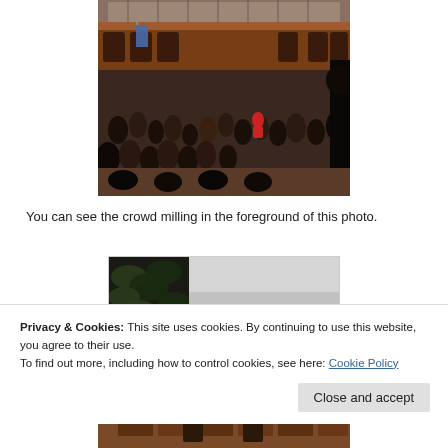[Figure (photo): Crowd gathered inside a large courtyard building with glass ceiling, people seated and standing, viewed from slightly elevated angle]
You can see the crowd milling in the foreground of this photo.
[Figure (photo): Partially visible photo showing foliage/leaves on the left side and a blurred/greyed out right portion]
Privacy & Cookies: This site uses cookies. By continuing to use this website, you agree to their use.
To find out more, including how to control cookies, see here: Cookie Policy
[Figure (photo): Partially visible bottom photo showing a brick building exterior]